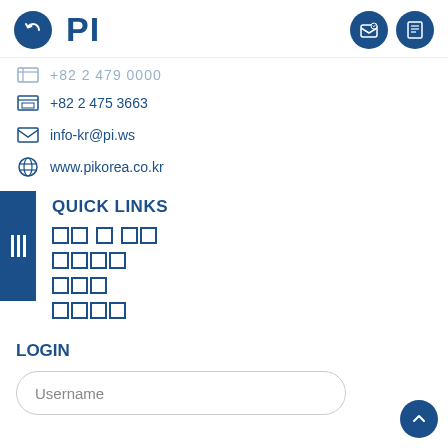PI
+82 2 475 3663
info-kr@pi.ws
www.pikorea.co.kr
QUICK LINKS
제품 및 솔루션
제품검색
뉴스룸
문의하기
LOGIN
Username